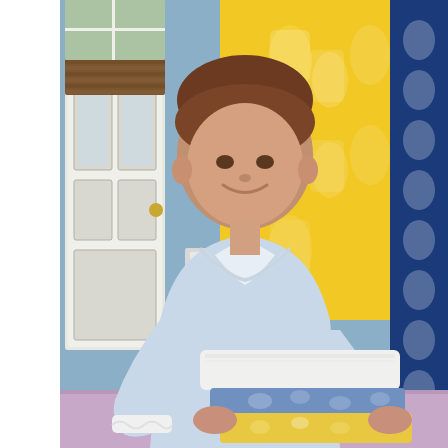[Figure (photo): A smiling woman with brown hair pulled back, wearing a light blue long-sleeve blouse with lace cuffs, holding a neatly folded stack of linens including white, blue floral, and yellow floral fabrics. She stands in a colorful bedroom with a yellow patterned wallpaper backdrop, blue and white geometric curtains, blue walls, a white door with glass panels, bamboo window shade, and a lavender/pink bed in the foreground.]